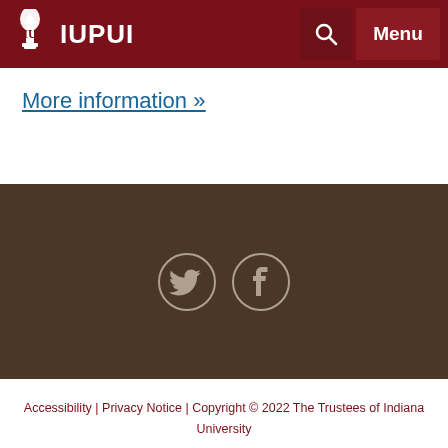IUPUI
More information »
[Figure (infographic): Social media icons for Twitter and Facebook on dark brown background]
Accessibility | Privacy Notice | Copyright © 2022 The Trustees of Indiana University